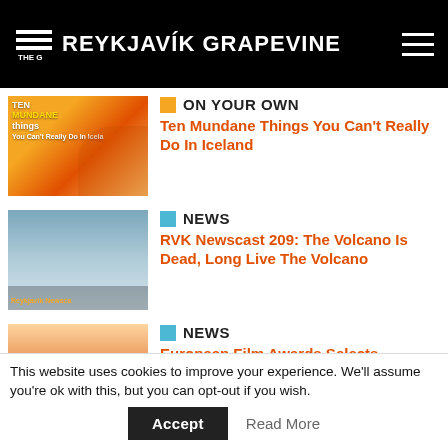THE REYKJAVÍK GRAPEVINE
ON YOUR OWN — Ten Mundane Things You Can't Really Do In Iceland
NEWS — RVK Newscast 209: The Volcano Is Dead, Long Live The Volcano
NEWS — European Film Awards Selects 'Beautiful Beings' And 'Godland'
NEWS — Daily Volcano Briefing: Eruption Closed Today Due To
This website uses cookies to improve your experience. We'll assume you're ok with this, but you can opt-out if you wish.
Accept   Read More